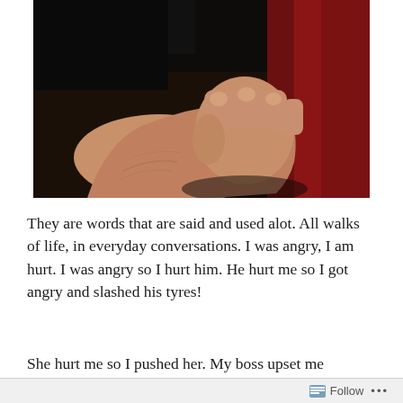[Figure (photo): A close-up photograph of a clenched human fist raised against a dark background with a red surface on the right side, depicting anger or violence.]
They are words that are said and used alot. All walks of life, in everyday conversations. I was angry, I am hurt. I was angry so I hurt him. He hurt me so I got angry and slashed his tyres!
She hurt me so I pushed her. My boss upset me
Follow ...